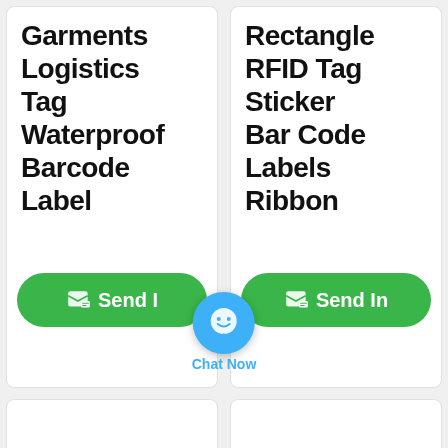Garments Logistics Tag Waterproof Barcode Label
Rectangle RFID Tag Sticker Bar Code Labels Ribbon
[Figure (screenshot): Green Send Inquiry buttons with a blue chat bubble overlay labeled Chat Now]
[Figure (photo): Bottom left product card with partial product image visible]
[Figure (photo): Bottom right product card, empty]